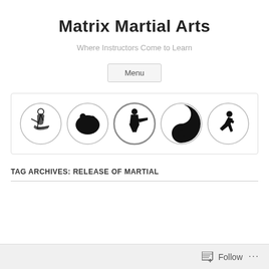Matrix Martial Arts
Where Instructors Come to Learn
Menu
[Figure (illustration): Five circular martial arts icons in a row: a kicking figure, two wrestlers, a punching figure, a yin-yang with fighter silhouette, and a crouching fighter]
TAG ARCHIVES: RELEASE OF MARTIAL
Follow ...